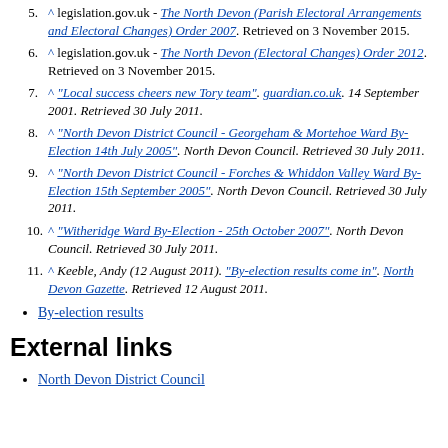^ legislation.gov.uk - The North Devon (Parish Electoral Arrangements and Electoral Changes) Order 2007. Retrieved on 3 November 2015.
^ legislation.gov.uk - The North Devon (Electoral Changes) Order 2012. Retrieved on 3 November 2015.
^ "Local success cheers new Tory team". guardian.co.uk. 14 September 2001. Retrieved 30 July 2011.
^ "North Devon District Council - Georgeham & Mortehoe Ward By-Election 14th July 2005". North Devon Council. Retrieved 30 July 2011.
^ "North Devon District Council - Forches & Whiddon Valley Ward By-Election 15th September 2005". North Devon Council. Retrieved 30 July 2011.
^ "Witheridge Ward By-Election - 25th October 2007". North Devon Council. Retrieved 30 July 2011.
^ Keeble, Andy (12 August 2011). "By-election results come in". North Devon Gazette. Retrieved 12 August 2011.
By-election results
External links
North Devon District Council